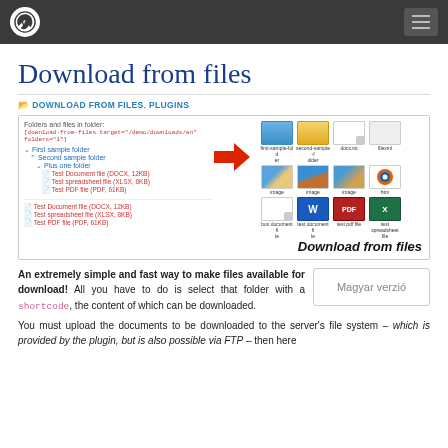WordPress site header with logo and hamburger menu
Download from files
DOWNLOAD FROM FILES, PLUGINS
[Figure (screenshot): Screenshot of a WordPress plugin showing a file/folder tree on the left with sample folders and files (Test Document file DOCX, Test spreadsheet file XLSX, Test PDF file PDF), a large red arrow pointing left, file icons on the right including folder icons, image thumbnails, document/Firefox/Word/PDF/Excel icons, and the text 'Download from files' in italic bold at bottom right.]
An extremely simple and fast way to make files available for download! All you have to do is select that folder with a shortcode, the content of which can be downloaded.
Magyar verzió
You must upload the documents to be downloaded to the server's file system – which is provided by the plugin, but is also possible via FTP – then here